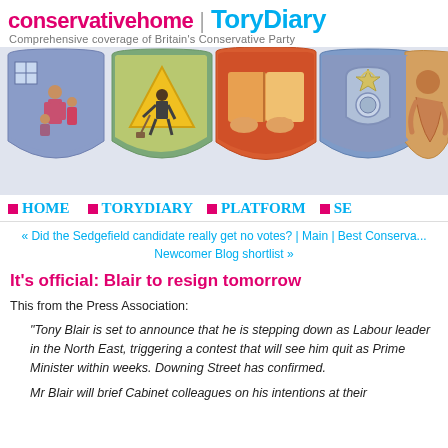conservativehome | ToryDiary — Comprehensive coverage of Britain's Conservative Party
[Figure (illustration): Five decorative shield-shaped emblems depicting various Conservative Party policy themes: family/housing, construction/work, book/education, police badge, and a figure, rendered in illustrated painterly style]
HOME  TORYDIARY  PLATFORM  SE[ARCH]
« Did the Sedgefield candidate really get no votes? | Main | Best Conserva... Newcomer Blog shortlist »
It's official: Blair to resign tomorrow
This from the Press Association:
"Tony Blair is set to announce that he is stepping down as Labour leader in the North East, triggering a contest that will see him quit as Prime Minister within weeks. Downing Street has confirmed.
Mr Blair will brief Cabinet colleagues on his intentions at their